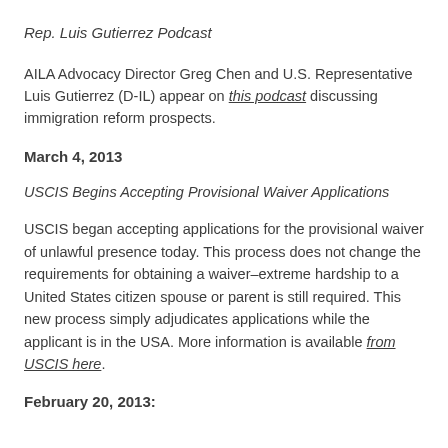Rep. Luis Gutierrez Podcast
AILA Advocacy Director Greg Chen and U.S. Representative Luis Gutierrez (D-IL) appear on this podcast discussing immigration reform prospects.
March 4, 2013
USCIS Begins Accepting Provisional Waiver Applications
USCIS began accepting applications for the provisional waiver of unlawful presence today. This process does not change the requirements for obtaining a waiver–extreme hardship to a United States citizen spouse or parent is still required. This new process simply adjudicates applications while the applicant is in the USA. More information is available from USCIS here.
February 20, 2013: